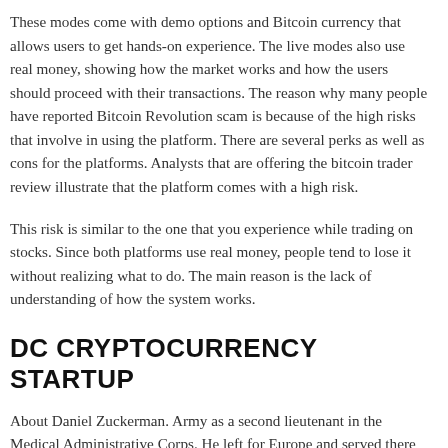These modes come with demo options and Bitcoin currency that allows users to get hands-on experience. The live modes also use real money, showing how the market works and how the users should proceed with their transactions. The reason why many people have reported Bitcoin Revolution scam is because of the high risks that involve in using the platform. There are several perks as well as cons for the platforms. Analysts that are offering the bitcoin trader review illustrate that the platform comes with a high risk.
This risk is similar to the one that you experience while trading on stocks. Since both platforms use real money, people tend to lose it without realizing what to do. The main reason is the lack of understanding of how the system works.
DC CRYPTOCURRENCY STARTUP
About Daniel Zuckerman. Army as a second lieutenant in the Medical Administrative Corps. He left for Europe and served there for two years. He landed in Normandy in June He was with an